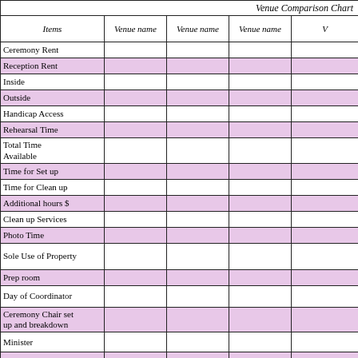| Items | Venue name | Venue name | Venue name | V |
| --- | --- | --- | --- | --- |
| Ceremony Rent |  |  |  |  |
| Reception Rent |  |  |  |  |
| Inside |  |  |  |  |
| Outside |  |  |  |  |
| Handicap Access |  |  |  |  |
| Rehearsal Time |  |  |  |  |
| Total Time Available |  |  |  |  |
| Time for Set up |  |  |  |  |
| Time for Clean up |  |  |  |  |
| Additional hours $ |  |  |  |  |
| Clean up Services |  |  |  |  |
| Photo Time |  |  |  |  |
| Sole Use of Property |  |  |  |  |
| Prep room |  |  |  |  |
| Day of Coordinator |  |  |  |  |
| Ceremony Chair set up and breakdown |  |  |  |  |
| Minister |  |  |  |  |
| Microphones Avail. |  |  |  |  |
| Security Required |  |  |  |  |
| Food |  |  |  |  |
| Alcohol |  |  |  |  |
| Misc. Tables |  |  |  |  |
| Tables |  |  |  |  |